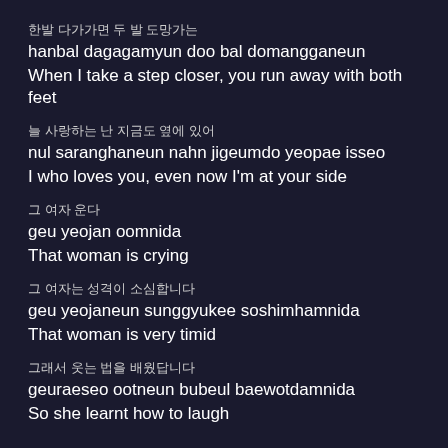한발 다가가면 두 발 도망가는
hanbal dagagamyun doo bal domangganeun
When I take a step closer, you run away with both feet
늘 사랑하는 난 지금도 옆에 있어
nul saranghaneun nahn jigeumdo yeopae isseo
I who loves you, even now I'm at your side
그 여자 운다
geu yeojan oomnida
That woman is crying
그 여자는 성격이 소심합니다
geu yeojaneun sunggyukee soshimhamnida
That woman is very timid
그래서 웃는 법을 배웠답니다
geuraeseo ootneun bubeul baewotdamnida
So she learnt how to laugh